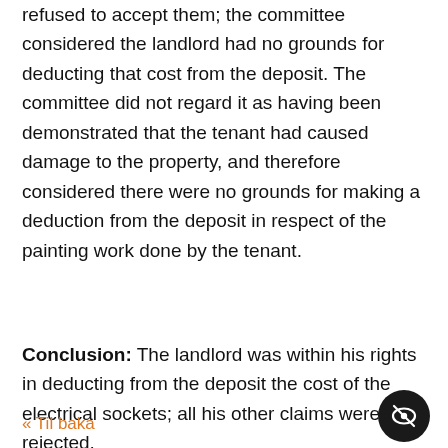refused to accept them; the committee considered the landlord had no grounds for deducting that cost from the deposit. The committee did not regard it as having been demonstrated that the tenant had caused damage to the property, and therefore considered there were no grounds for making a deduction from the deposit in respect of the painting work done by the tenant.
Conclusion: The landlord was within his rights in deducting from the deposit the cost of the electrical sockets; all his other claims were rejected.
« Til baka